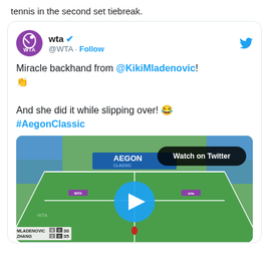tennis in the second set tiebreak.
[Figure (screenshot): Embedded tweet from @WTA showing a video of Kiki Mladenovic hitting a miracle backhand while slipping at the Aegon Classic. Tweet text: 'Miracle backhand from @KikiMladenovic! 👏 And she did it while slipping over! 😂 #AegonClassic'. Video thumbnail shows a tennis court with a play button and a Watch on Twitter badge.]